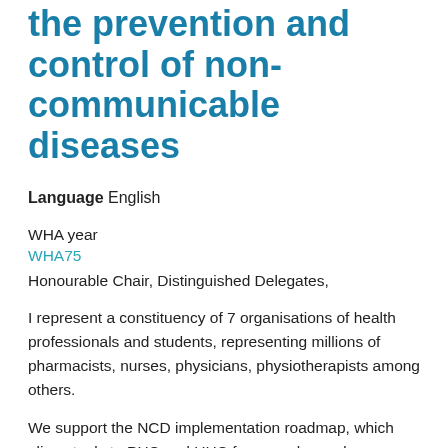the prevention and control of non-communicable diseases
Language English
WHA year
WHA75
Honourable Chair, Distinguished Delegates,
I represent a constituency of 7 organisations of health professionals and students, representing millions of pharmacists, nurses, physicians, physiotherapists among others.
We support the NCD implementation roadmap, which aligns tools to PHC and UHC frameworks, and we urge Member States and WHO to work closely with health